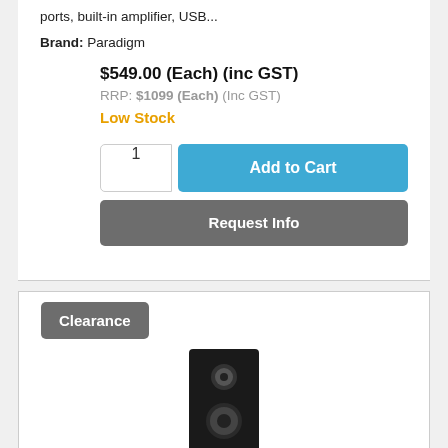ports, built-in amplifier, USB...
Brand: Paradigm
$549.00 (Each) (inc GST)
RRP: $1099 (Each) (Inc GST)
Low Stock
1
Add to Cart
Request Info
Clearance
[Figure (photo): A tall floor-standing speaker in black finish, viewed from the front, showing multiple driver cones.]